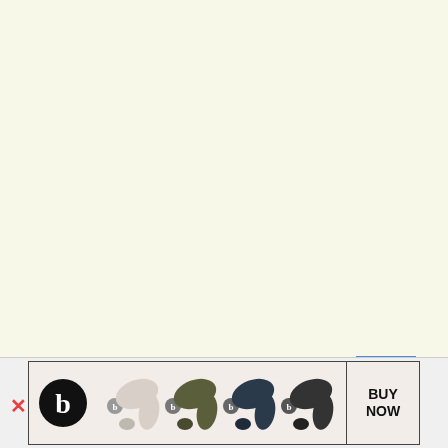[Figure (photo): Advertisement banner at bottom of page for Beats earphones. Shows Beats logo (b in black circle), four Beats Powerbeats earphones in different colors (white/beige, olive/army green, dark navy, dark gray/charcoal), and a BUY NOW button in a bordered box. Page background is light cream/yellow. Close button (X) in top right corner of ad area. Blue bar partially visible. Red X mark at bottom left.]